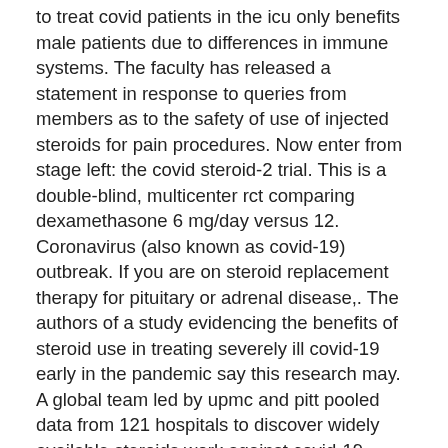to treat covid patients in the icu only benefits male patients due to differences in immune systems. The faculty has released a statement in response to queries from members as to the safety of use of injected steroids for pain procedures. Now enter from stage left: the covid steroid-2 trial. This is a double-blind, multicenter rct comparing dexamethasone 6 mg/day versus 12. Coronavirus (also known as covid-19) outbreak. If you are on steroid replacement therapy for pituitary or adrenal disease,. The authors of a study evidencing the benefits of steroid use in treating severely ill covid-19 early in the pandemic say this research may. A global team led by upmc and pitt pooled data from 121 hospitals to discover widely available steroids work against covid-19. While the immunosuppressive effect of steroids is undisputed and desirable in the context of severe covid-19 treatment, the adverse effects of steroid treatment. Does